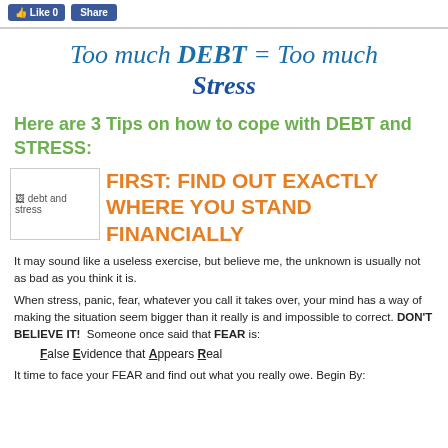Like 0  Share
Too much DEBT = Too much Stress
Here are 3 Tips on how to cope with DEBT and STRESS:
[Figure (photo): Image placeholder labeled 'debt and stress']
FIRST: FIND OUT EXACTLY WHERE YOU STAND FINANCIALLY
It may sound like a useless exercise, but believe me, the unknown is usually not as bad as you think it is.
When stress, panic, fear, whatever you call it takes over, your mind has a way of making the situation seem bigger than it really is and impossible to correct. DON'T BELIEVE IT!  Someone once said that FEAR is:
False Evidence that Appears Real
It time to face your FEAR and find out what you really owe. Begin By: